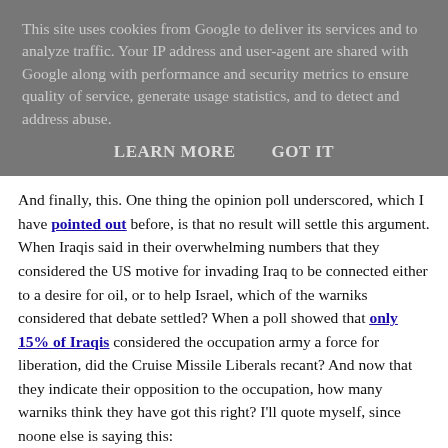This site uses cookies from Google to deliver its services and to analyze traffic. Your IP address and user-agent are shared with Google along with performance and security metrics to ensure quality of service, generate usage statistics, and to detect and address abuse.
LEARN MORE    GOT IT
And finally, this. One thing the opinion poll underscored, which I have pointed out before, is that no result will settle this argument. When Iraqis said in their overwhelming numbers that they considered the US motive for invading Iraq to be connected either to a desire for oil, or to help Israel, which of the warniks considered that debate settled? When a poll showed that only 15% of Iraqis considered the occupation army a force for liberation, did the Cruise Missile Liberals recant? And now that they indicate their opposition to the occupation, how many warniks think they have got this right? I'll quote myself, since noone else is saying this:
"[W]hat is the value of these opinion polls in terms of deciding what we think about the invasion and occupation of Iraq? ...